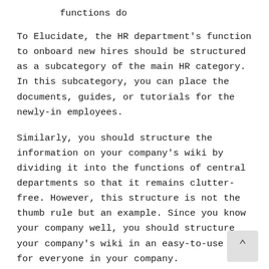functions do
To Elucidate, the HR department's function to onboard new hires should be structured as a subcategory of the main HR category. In this subcategory, you can place the documents, guides, or tutorials for the newly-in employees.
Similarly, you should structure the information on your company's wiki by dividing it into the functions of central departments so that it remains clutter-free. However, this structure is not the thumb rule but an example. Since you know your company well, you should structure your company's wiki in an easy-to-use way for everyone in your company.
Having done with structuring your company's wiki leads